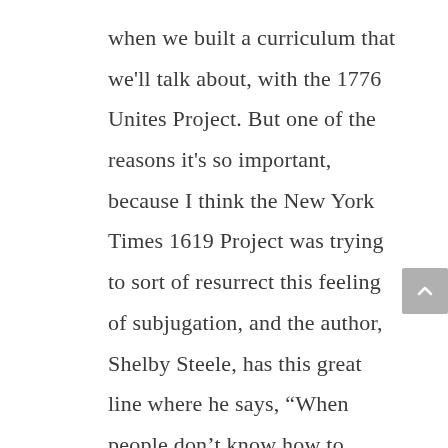when we built a curriculum that we'll talk about, with the 1776 Unites Project. But one of the reasons it's so important, because I think the New York Times 1619 Project was trying to sort of resurrect this feeling of subjugation, and the author, Shelby Steele, has this great line where he says, “When people don’t know how to handle their freedom, they reinvent their oppression.” And I think it applies to 1619, because, in a sense, they’re trying to say that nothing has changed. There’s no progress, and so, whatever existed in 1619, if you’re a Black person, you are just as